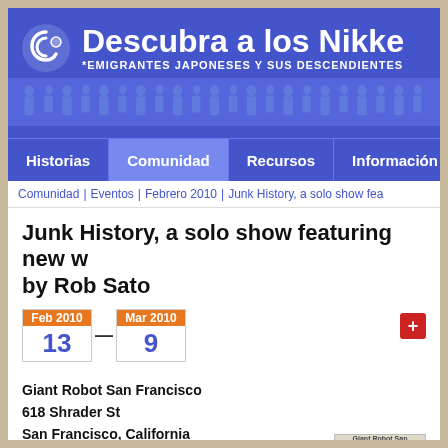[Figure (screenshot): Website header for 'Descubra a los Nikke' with blue background, spiral logo, and subtitle '*EMIGRANTES JAPONESES Y SUS DESCENDIENTES']
Historias | Comunidad | Recursos | Información
Comunidad | Eventos | Febrero 2010 | Junk History, a solo show fea
Junk History, a solo show featuring new w by Rob Sato
Feb 2010—Mar 2010
13
9
Giant Robot San Francisco
618 Shrader St
San Francisco, California
United States
Giant Robot is proud to present Junk History, a solo show